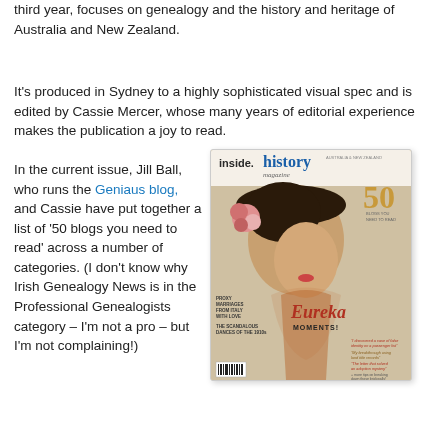third year, focuses on genealogy and the history and heritage of Australia and New Zealand.
It's produced in Sydney to a highly sophisticated visual spec and is edited by Cassie Mercer, whose many years of editorial experience makes the publication a joy to read.
In the current issue, Jill Ball, who runs the Geniaus blog, and Cassie have put together a list of '50 blogs you need to read' across a number of categories. (I don't know why Irish Genealogy News is in the Professional Genealogists category – I'm not a pro – but I'm not complaining!)
[Figure (photo): Cover of Inside History magazine showing a woman in vintage attire with a large hat, flowers, features about Eureka Moments, 50 blogs you need to read, proxy marriages from Italy with love, and other genealogy topics.]